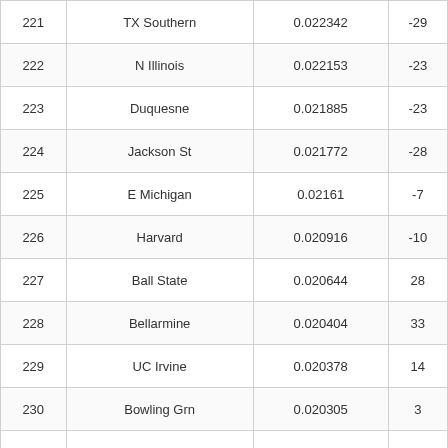| 221 | TX Southern | 0.022342 | -29 |
| 222 | N Illinois | 0.022153 | -23 |
| 223 | Duquesne | 0.021885 | -23 |
| 224 | Jackson St | 0.021772 | -28 |
| 225 | E Michigan | 0.02161 | -7 |
| 226 | Harvard | 0.020916 | -10 |
| 227 | Ball State | 0.020644 | 28 |
| 228 | Bellarmine | 0.020404 | 33 |
| 229 | UC Irvine | 0.020378 | 14 |
| 230 | Bowling Grn | 0.020305 | 3 |
| 231 | Merrimack | 0.020192 | -1 |
| 232 | Sam Hous St | 0.01991 | 5 |
| 233 | Niagara | 0.019157 | -12 |
| 234 | CS Fullerton | 0.019013 | 2 |
| 235 | S Utah | 0.018985 | 11 |
| 236 | Portland | 0.018532 | 3 |
| 237 | S Florida | 0.017518 | -31 |
| 238 | Rice | 0.017446 | -14 |
| 239 | South Dakota | 0.017268 | -7 |